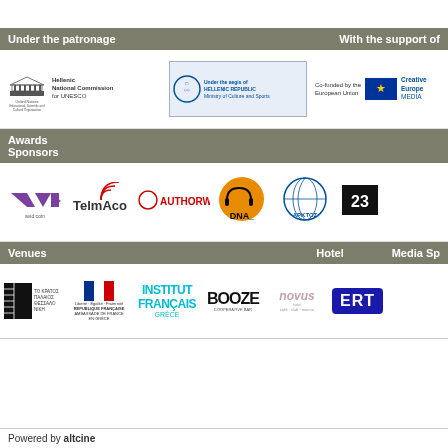Under the patronage | With the support of
[Figure (logo): Hellenic National Commission for UNESCO logo]
[Figure (logo): Hellenic Republic Ministry of Culture and Sports logo]
[Figure (logo): Co-funded by the European Union - Creative Europe MEDIA logo]
Awards Sponsors
[Figure (logo): AVID avid.com logo]
[Figure (logo): TelmAco logo]
[Figure (logo): AUTHORWAVE logo]
[Figure (logo): DNA logo]
[Figure (logo): APKTOS s.e. logo]
[Figure (logo): 23 logo]
Venues | Hotel | Media Sp
[Figure (logo): Thessaloniki Film Festival logo]
[Figure (logo): Ambassade de France en Grece - Republique Francaise logo]
[Figure (logo): Institut Francais Grece logo]
[Figure (logo): BOOZE logo]
[Figure (logo): novus hotel logo]
[Figure (logo): ERT logo]
Powered by altcine